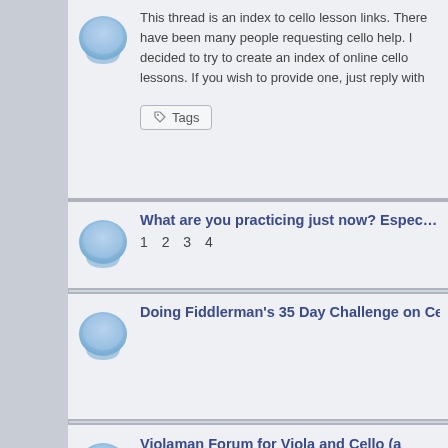This thread is an index to cello lesson links. There have been many people requesting cello help. I decided to try to create an index of online cello lessons. If you wish to provide one, just reply with
Tags
What are you practicing just now? Especially cellists :)
1 2 3 4
Doing Fiddlerman's 35 Day Challenge on Cello
Violaman Forum for Viola and Cello (a sister forum for Fiddlerman)
Cello Video Tutorials
Always something good